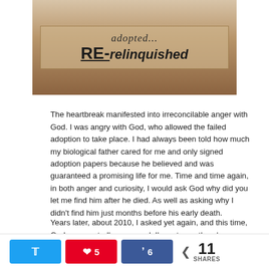[Figure (photo): A cardboard sign reading 'adopted... RE-relinquished' on a wooden floor background. 'RE-' is bold and underlined.]
The heartbreak manifested into irreconcilable anger with God. I was angry with God, who allowed the failed adoption to take place. I had always been told how much my biological father cared for me and only signed adoption papers because he believed and was guaranteed a promising life for me. Time and time again, in both anger and curiosity, I would ask God why did you let me find him after he died. As well as asking why I didn't find him just months before his early death.
Years later, about 2010, I asked yet again, and this time, God unexpectedly answered. I'm not sure there's an answer on this side of eternity that will suffice. Part of the answer
Tweet | Pin 5 | Share 6 | 11 SHARES